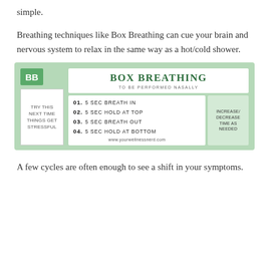simple.
Breathing techniques like Box Breathing can cue your brain and nervous system to relax in the same way as a hot/cold shower.
[Figure (infographic): Box Breathing infographic on a green background. Left side has a 'BB' green badge and a white box reading 'TRY THIS NEXT TIME THINGS GET STRESSFUL'. Right side has a white header 'BOX BREATHING / TO BE PERFORMED NASALLY' followed by four numbered steps: 01. 5 SEC BREATH IN, 02. 5 SEC HOLD AT TOP, 03. 5 SEC BREATH OUT, 04. 5 SEC HOLD AT BOTTOM. A side note reads 'INCREASE/DECREASE TIME AS NEEDED'. URL: www.yourwellnessnerd.com]
A few cycles are often enough to see a shift in your symptoms.